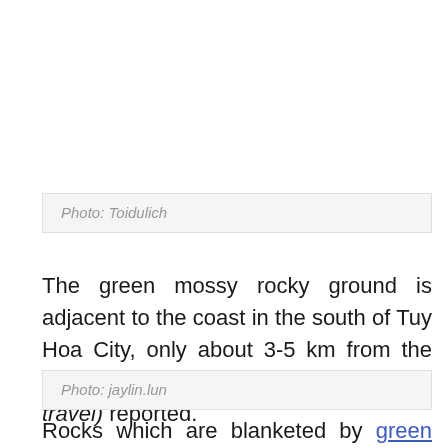[Figure (photo): Image placeholder area (white/blank) for a photo]
Photo: Toidulich
The green mossy rocky ground is adjacent to the coast in the south of Tuy Hoa City, only about 3-5 km from the city center, Du lich Vietnam (Vietnam travel) reported.
Photo: jaylin.lun
Rocks which are blanketed by green moss create